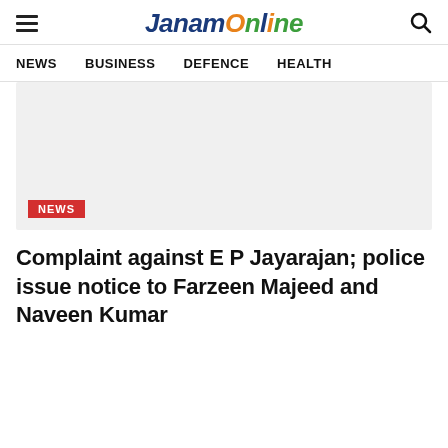JanamOnline
NEWS   BUSINESS   DEFENCE   HEALTH
[Figure (photo): Article hero image placeholder with a NEWS badge label in red at the bottom left]
Complaint against E P Jayarajan; police issue notice to Farzeen Majeed and Naveen Kumar